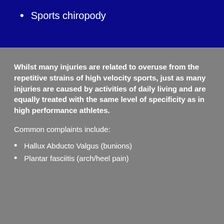Sports chiropody
Whilst many injuries are related to overuse from the repetitive strains of high velocity sports, just as many injuries are caused by activities of daily living and are equally treated with the same level of specificity as in high performance athletes.
Common complaints include:
Hallux Abducto Valgus (bunions)
Plantar fasciitis (arch/heel pain)